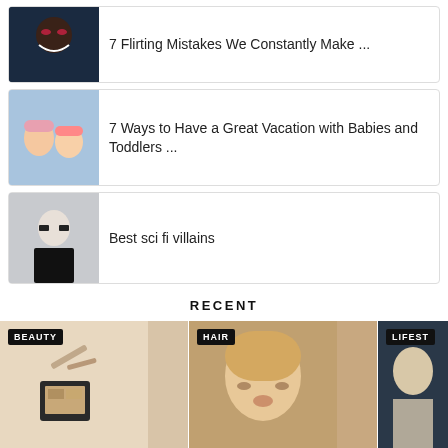7 Flirting Mistakes We Constantly Make ...
7 Ways to Have a Great Vacation with Babies and Toddlers ...
Best sci fi villains
RECENT
[Figure (photo): Beauty category thumbnail showing makeup products with BEAUTY tag label]
[Figure (photo): Hair category thumbnail showing woman's face with HAIR tag label]
[Figure (photo): Lifestyle category thumbnail with LIFEST tag label]